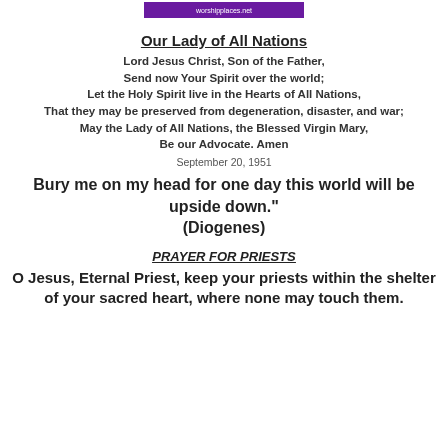[Figure (logo): Purple rectangular logo/banner at top center]
Our Lady of All Nations
Lord Jesus Christ, Son of the Father,
Send now Your Spirit over the world;
Let the Holy Spirit live in the Hearts of All Nations,
That they may be preserved from degeneration, disaster, and war;
May the Lady of All Nations, the Blessed Virgin Mary,
Be our Advocate. Amen
September 20, 1951
Bury me on my head for one day this world will be upside down."
(Diogenes)
PRAYER FOR PRIESTS
O Jesus, Eternal Priest, keep your priests within the shelter of your sacred heart, where none may touch them.